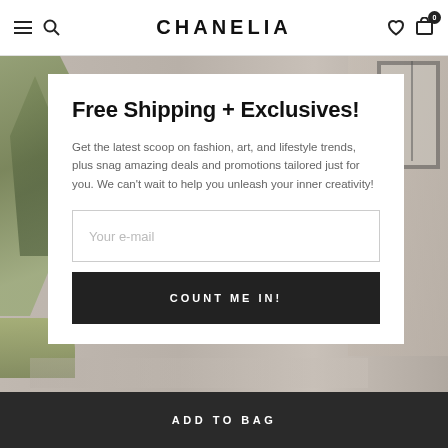CHANELIA
[Figure (photo): Background lifestyle/architectural photo showing a building exterior with plants and greenery]
Free Shipping + Exclusives!
Get the latest scoop on fashion, art, and lifestyle trends, plus snag amazing deals and promotions tailored just for you. We can't wait to help you unleash your inner creativity!
Your e-mail
COUNT ME IN!
ADD TO BAG